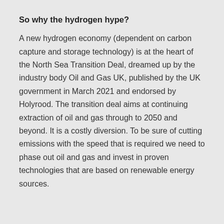So why the hydrogen hype?
A new hydrogen economy (dependent on carbon capture and storage technology) is at the heart of the North Sea Transition Deal, dreamed up by the industry body Oil and Gas UK, published by the UK government in March 2021 and endorsed by Holyrood. The transition deal aims at continuing extraction of oil and gas through to 2050 and beyond. It is a costly diversion. To be sure of cutting emissions with the speed that is required we need to phase out oil and gas and invest in proven technologies that are based on renewable energy sources.